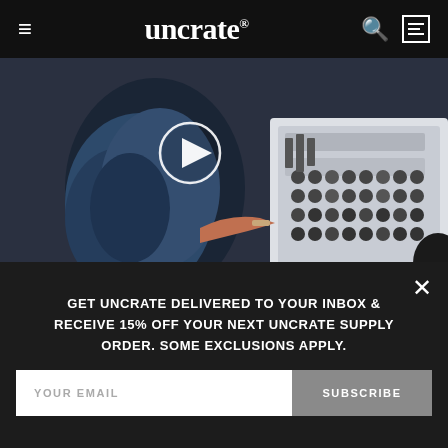uncrate®
[Figure (screenshot): Video thumbnail showing a person working at a music production mixing console/audio board in a studio, with a white circular play button overlay in the center]
VIDEO / MUSIC
THE SOUNDTRACK TO YOUR CHILDHOOD
GET UNCRATE DELIVERED TO YOUR INBOX & RECEIVE 15% OFF YOUR NEXT UNCRATE SUPPLY ORDER. SOME EXCLUSIONS APPLY.
YOUR EMAIL  SUBSCRIBE